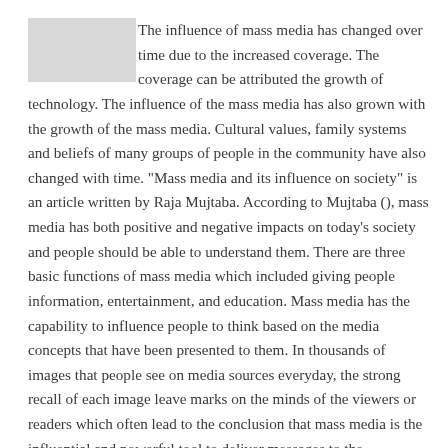The influence of mass media has changed over time due to the increased coverage. The coverage can be attributed the growth of technology. The influence of the mass media has also grown with the growth of the mass media. Cultural values, family systems and beliefs of many groups of people in the community have also changed with time. "Mass media and its influence on society" is an article written by Raja Mujtaba. According to Mujtaba (), mass media has both positive and negative impacts on today's society and people should be able to understand them. There are three basic functions of mass media which included giving people information, entertainment, and education. Mass media has the capability to influence people to think based on the media concepts that have been presented to them. In thousands of images that people see on media sources everyday, the strong recall of each image leave marks on the minds of the viewers or readers which often lead to the conclusion that mass media is the influential and powerful tool to deliver messages to the mainstream.